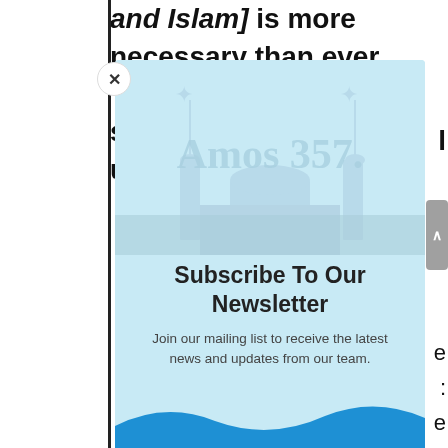and Islam] is more necessary than ever. There remains a spiritual bond which unites us and
[Figure (illustration): Newsletter subscription modal overlay with light blue background, watermark logo reading 'Amos 3:7', silhouettes of minarets/church spires, close button (X), newsletter subscribe heading and body text, and blue wave at bottom.]
Subscribe To Our Newsletter
Join our mailing list to receive the latest news and updates from our team.